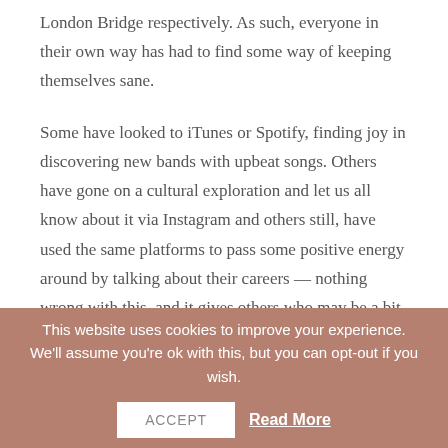London Bridge respectively. As such, everyone in their own way has had to find some way of keeping themselves sane.
Some have looked to iTunes or Spotify, finding joy in discovering new bands with upbeat songs. Others have gone on a cultural exploration and let us all know about it via Instagram and others still, have used the same platforms to pass some positive energy around by talking about their careers — nothing wrong with this, and it gives others who may be a bit stuck some comfort that there is light at the end of the tunnel.
Me? I've always found comfort in three pedals, a
This website uses cookies to improve your experience. We'll assume you're ok with this, but you can opt-out if you wish.